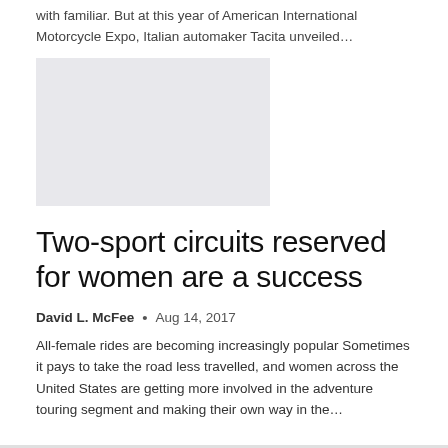with familiar. But at this year of American International Motorcycle Expo, Italian automaker Tacita unveiled…
[Figure (photo): Placeholder image, light gray rectangle]
Two-sport circuits reserved for women are a success
David L. McFee  •  Aug 14, 2017
All-female rides are becoming increasingly popular Sometimes it pays to take the road less travelled, and women across the United States are getting more involved in the adventure touring segment and making their own way in the…